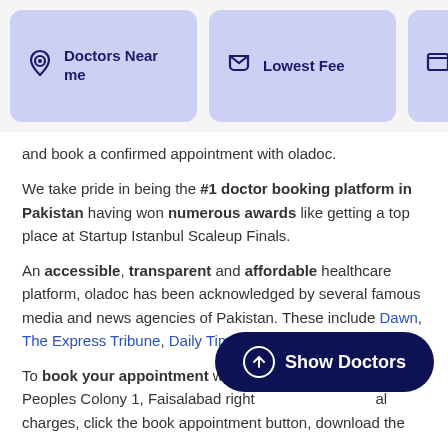[Figure (screenshot): Navigation bar with 'Doctors Near me', 'Lowest Fee', and a partially visible third option as purple/lavender cards with icons]
and book a confirmed appointment with oladoc.
We take pride in being the #1 doctor booking platform in Pakistan having won numerous awards like getting a top place at Startup Istanbul Scaleup Finals.
An accessible, transparent and affordable healthcare platform, oladoc has been acknowledged by several famous media and news agencies of Pakistan. These include Dawn, The Express Tribune, Daily Times, TechJuice, and more.
To book your appointment with Peoples Colony 1, Faisalabad right al charges, click the book appointment button, download the
[Figure (other): Show Doctors button — dark navy blue rounded pill button with upward arrow icon and 'Show Doctors' text in white]